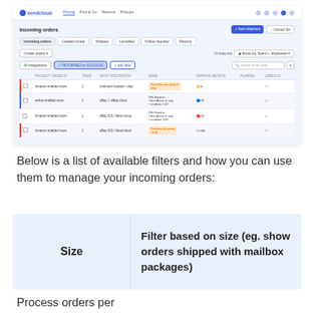[Figure (screenshot): Screenshot of Sendcloud 'Incoming orders' dashboard interface showing navigation bar, tabs (Incoming orders, Created locally, Shipped, Cancelled, Follow required, Returns), filter buttons (All integrations, RETURNED or SUCCESS, + add filter), a search box, and a table of order rows with columns for order number, items, shop integration, name/address, shipping method, and status. Some rows have red or blue left accent bars.]
Below is a list of available filters and how you can use them to manage your incoming orders:
|  |  |
| --- | --- |
| Size | Filter based on size (eg. show orders shipped with mailbox packages) |
Process orders per